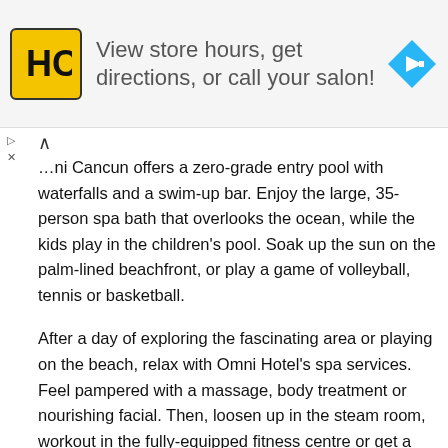[Figure (logo): Hair Club (HC) logo in yellow square with black border, advertisement banner for salon with navigation icon]
...ni Cancun offers a zero-grade entry pool with waterfalls and a swim-up bar. Enjoy the large, 35-person spa bath that overlooks the ocean, while the kids play in the children's pool. Soak up the sun on the palm-lined beachfront, or play a game of volleyball, tennis or basketball.
After a day of exploring the fascinating area or playing on the beach, relax with Omni Hotel's spa services. Feel pampered with a massage, body treatment or nourishing facial. Then, loosen up in the steam room, workout in the fully-equipped fitness centre or get a new look in the salon.